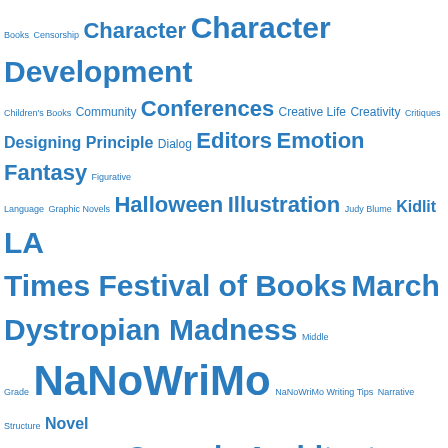[Figure (infographic): Tag cloud of writing and children's book topics in varying font sizes, all in blue. Larger text indicates more frequent/popular tags. Topics include: Books, Censorship, Character, Character Development, Children's Books, Community, Conferences, Creative Life, Creativity, Critiques, Designing Principle, Dialog, Editors, Emotion, Fantasy, Figurative Language, Graphic Novels, Halloween, Illustration, Judy Blume, Kidlit, LA Times Festival of Books, March Dystropian Madness, Middle Grade, NaNoWriMo, NaNoWriMo Writing Tips, Narrative Structure, Novel Writing, Opening Lines, Organic Architecture, Picture Books, Plot, Plot Structure, Poetry, Point of View, POV, Queries, Query Letters, Quote of the Week, Quotes, Reading, Rejections, Revision, SCBWI, Story, Story Design, Story Structure, Structure, Submission, Submissions, The Market, The Writing Gym, Time Management, Trends, VCFA, Vermont College of Fine Arts, Video, Voice, Writing, Writing Advice]